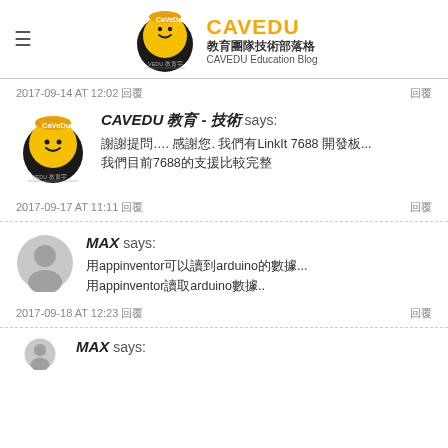CAVEDU 教育團隊技術部落格 CAVEDU Education Blog
2017-09-14 AT 12:02 回覆
CAVEDU 教育 - 技術 says: 謝謝提問…. 感謝您. 我們有LinkIt 7688 開發板... 我們目前7688的支援比較完整
2017-09-17 AT 11:11 回覆
MAX says: 用appinventor可以讀到arduino的數據... 用appinventor讀取arduino數據..
2017-09-18 AT 12:23 回覆
MAX says: